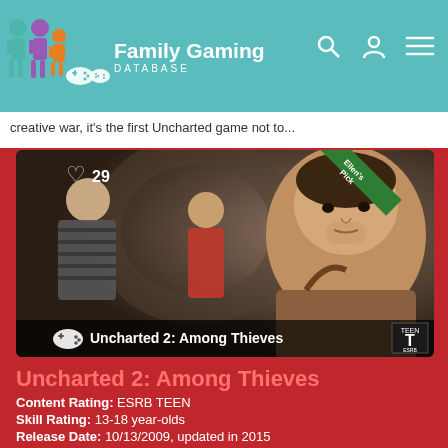Family Gaming DATABASE
creative war, it's the first Uncharted game not to...
[Figure (screenshot): Screenshot of Uncharted 2: Among Thieves game showing three characters - a man in striped shirt on left, a woman in red in center, and Nathan Drake on the right in close-up. An 'Ellen's Pick' green ribbon badge is in the top right corner. A heart icon with '29' likes is in the top left. The bottom bar shows the game title and ESRB Teen rating badge.]
Uncharted 2: Among Thieves
Content Rating: ESRB TEEN
Skill Rating: 13-18 year-olds
Release Date: 10/13/2009, updated in 2015